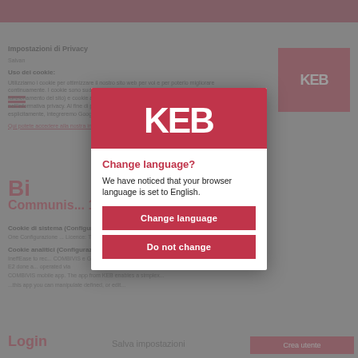[Figure (screenshot): Blurred/faded background showing a KEB website cookie settings page in Italian, with navigation menu, cookie usage text, and bottom action buttons.]
[Figure (logo): KEB logo — white letters KEB on red background rectangle]
Change language?
We have noticed that your browser language is set to English.
Change language
Do not change